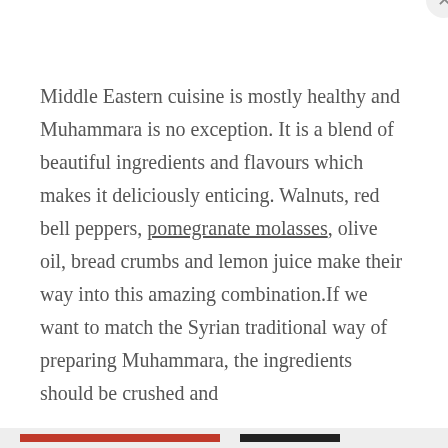Middle Eastern cuisine is mostly healthy and Muhammara is no exception. It is a blend of beautiful ingredients and flavours which makes it deliciously enticing. Walnuts, red bell peppers, pomegranate molasses, olive oil, bread crumbs and lemon juice make their way into this amazing combination.If we want to match the Syrian traditional way of preparing Muhammara, the ingredients should be crushed and
Privacy & Cookies: This site uses cookies. By continuing to use this website, you agree to their use.
To find out more, including how to control cookies, see here: Cookie Policy
Close and accept